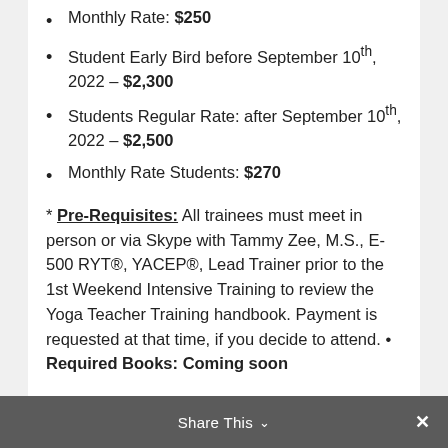Monthly Rate: $250
Student Early Bird before September 10th, 2022 – $2,300
Students Regular Rate: after September 10th, 2022 – $2,500
Monthly Rate Students: $270
* Pre-Requisites: All trainees must meet in person or via Skype with Tammy Zee, M.S., E-500 RYT®, YACEP®, Lead Trainer prior to the 1st Weekend Intensive Training to review the Yoga Teacher Training handbook. Payment is requested at that time, if you decide to attend. • Required Books: Coming soon
DATES COMING SOON: 300 RYT® ADVANCED YOGA TEACHER TRAINING 300 RYT® ...